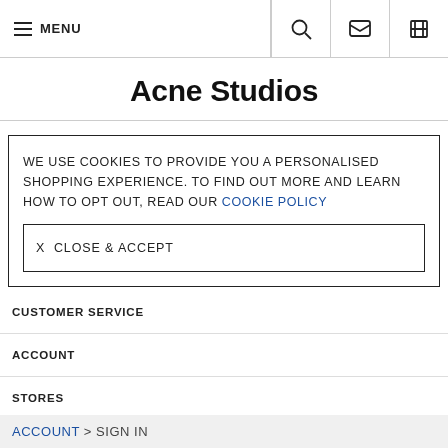≡ MENU
Acne Studios
WE USE COOKIES TO PROVIDE YOU A PERSONALISED SHOPPING EXPERIENCE. TO FIND OUT MORE AND LEARN HOW TO OPT OUT, READ OUR COOKIE POLICY
X  CLOSE & ACCEPT
CUSTOMER SERVICE
ACCOUNT
STORES
ACCOUNT > SIGN IN